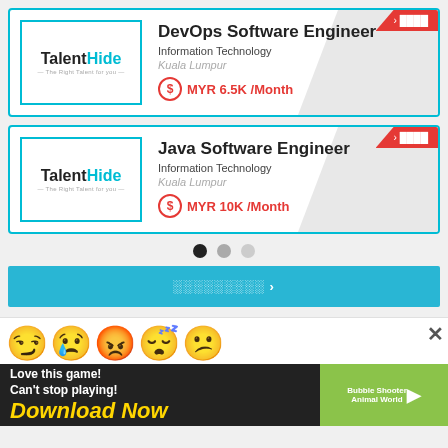[Figure (screenshot): TalentHide logo with cyan text]
DevOps Software Engineer
Information Technology
Kuala Lumpur
MYR 6.5K /Month
[Figure (screenshot): TalentHide logo with cyan text]
Java Software Engineer
Information Technology
Kuala Lumpur
MYR 10K /Month
● ● ●
░░░░░░░░░ ›
[Figure (infographic): Emoji faces row: winking, crying, angry, sleepy, confused]
[Figure (infographic): Advertisement banner: Love this game! Can't stop playing! Download Now - Bubble Shooter Animal World]